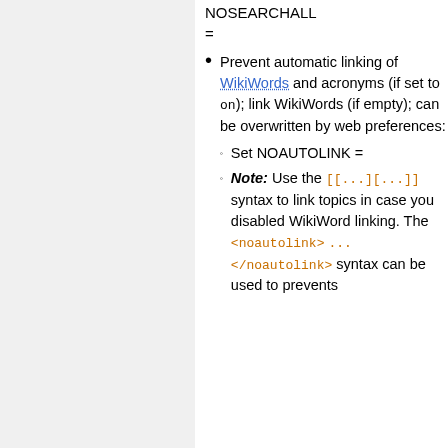NOSEARCHALL =
Prevent automatic linking of WikiWords and acronyms (if set to on); link WikiWords (if empty); can be overwritten by web preferences:
Set NOAUTOLINK =
Note: Use the [[...][...]] syntax to link topics in case you disabled WikiWord linking. The <noautolink> ... </noautolink> syntax can be used to prevents